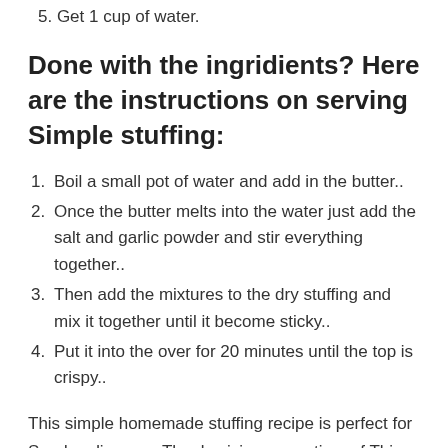5. Get 1 cup of water.
Done with the ingridients? Here are the instructions on serving Simple stuffing:
1. Boil a small pot of water and add in the butter..
2. Once the butter melts into the water just add the salt and garlic powder and stir everything together..
3. Then add the mixtures to the dry stuffing and mix it together until it become sticky..
4. Put it into the over for 20 minutes until the top is crispy..
This simple homemade stuffing recipe is perfect for Sunday dinner or Thanksgiving or anytime of This simple keto Irish stuffing is delicious and super easy to make. Change the herbs and spices to. Quick, simple & delicious Stuffed Shells loaded with ricotta, mozzarella & Parmesan cheeses and covered in sauce. Call it mealtime perfection ♥. "Simplicity is the essence of great Italian